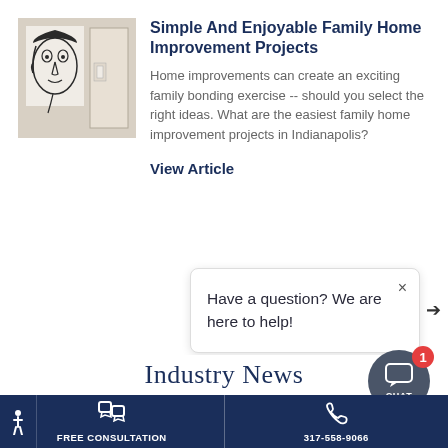[Figure (photo): A wall-mounted abstract face artwork (line drawing of a face) with a white door and light switch visible in the background]
Simple And Enjoyable Family Home Improvement Projects
Home improvements can create an exciting family bonding exercise -- should you select the right ideas. What are the easiest family home improvement projects in Indianapolis?
View Article
Have a question? We are here to help!
Industry News
FREE CONSULTATION
317-558-9066